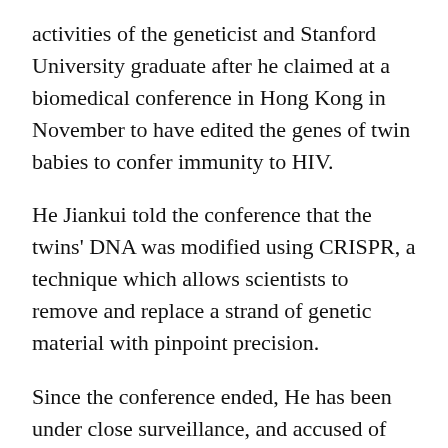activities of the geneticist and Stanford University graduate after he claimed at a biomedical conference in Hong Kong in November to have edited the genes of twin babies to confer immunity to HIV.
He Jiankui told the conference that the twins' DNA was modified using CRISPR, a technique which allows scientists to remove and replace a strand of genetic material with pinpoint precision.
Since the conference ended, He has been under close surveillance, and accused of academic fraud and bioethics violations by state news agency Xinhua.